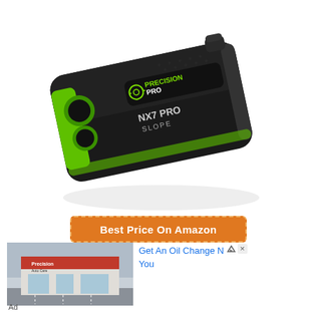[Figure (photo): Precision Pro NX7 PRO SLOPE golf rangefinder in black with green accents, shown at an angle on white background. The device has a rubberized body with textured grip, green lens housing, and displays the PrecisionPro logo with circular target icon.]
Best Price On Amazon
[Figure (photo): Advertisement image showing a retail store (appears to be Precision Auto Care) storefront in a strip mall setting with parking lot, overcast sky. Followed by text ad: 'Get An Oil Change Near You']
Ad